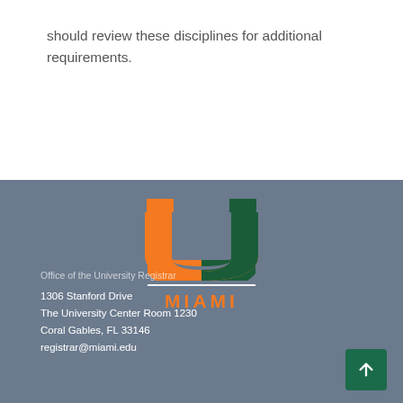should review these disciplines for additional requirements.
[Figure (logo): University of Miami logo — orange and green U shape with 'MIAMI' text in orange below a white divider line, on a slate-blue background]
Office of the University Registrar
1306 Stanford Drive
The University Center Room 1230
Coral Gables, FL 33146
registrar@miami.edu